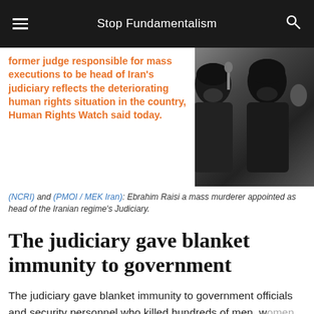Stop Fundamentalism
[Figure (photo): Black and white photo of two Iranian clerics greeting each other, with orange text overlay reading: former judge responsible for mass executions to be head of Iran's judiciary reflects the deteriorating human rights situation in the country, Human Rights Watch said today.]
(NCRI) and (PMOI / MEK Iran): Ebrahim Raisi a mass murderer appointed as head of the Iranian regime's Judiciary.
The judiciary gave blanket immunity to government
The judiciary gave blanket immunity to government officials and security personnel who killed hundreds of men, w... and children during nationwide protests in November ... Thousands of demonstrators and onlookers were arrested...